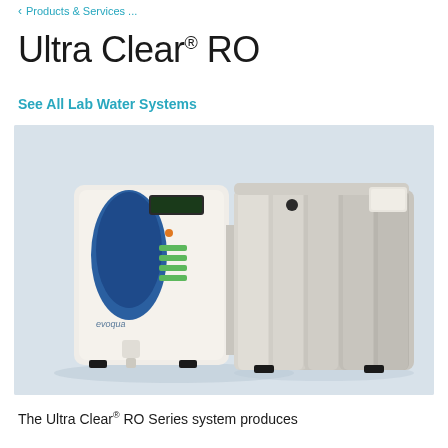< Products & Services ...
Ultra Clear® RO
See All Lab Water Systems
[Figure (photo): Product photo of the Ultra Clear RO system showing a white lab water purification unit with a blue oval control panel and display on the left side, connected to a larger grey ribbed tank/membrane module on the right. The unit sits on black feet. Evoqua branding visible on the front. Light blue-grey background.]
The Ultra Clear® RO Series system produces